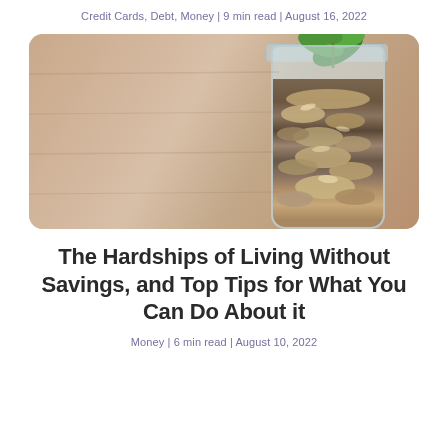Credit Cards, Debt, Money | 9 min read | August 16, 2022
[Figure (photo): A glass jar filled with coins with a small green plant growing out of the top, set against a warm wooden background]
The Hardships of Living Without Savings, and Top Tips for What You Can Do About it
Money | 6 min read | August 10, 2022